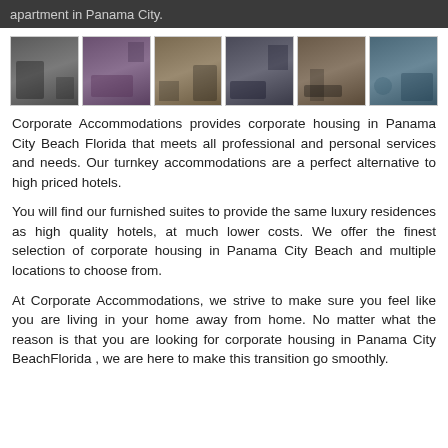apartment in Panama City.
[Figure (photo): Six photos of corporate housing accommodations: kitchen/living area, bedroom, kitchen, living room with TV, dining area, outdoor pool area]
Corporate Accommodations provides corporate housing in Panama City Beach Florida that meets all professional and personal services and needs. Our turnkey accommodations are a perfect alternative to high priced hotels.
You will find our furnished suites to provide the same luxury residences as high quality hotels, at much lower costs. We offer the finest selection of corporate housing in Panama City Beach and multiple locations to choose from.
At Corporate Accommodations, we strive to make sure you feel like you are living in your home away from home. No matter what the reason is that you are looking for corporate housing in Panama City BeachFlorida , we are here to make this transition go smoothly.